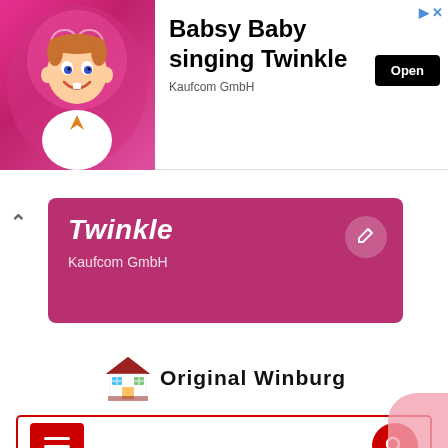[Figure (screenshot): Advertisement banner: Babsy Baby singing Twinkle app ad with animated baby character on pink background, Open button, Kaufcom GmbH]
[Figure (screenshot): Pink Twinkle bar showing title 'Twinkle' in white italic with subtitle 'Kaufcom GmbH', edit icon on right, chevron up on left]
[Figure (logo): Original Winburg logo: house icon with colorful windows and text 'Original Winburg']
[Figure (screenshot): Navigation bar with red menu hamburger button on left and red circular search button on right, red border]
Home > Comments > Spring patchwork bedspreads